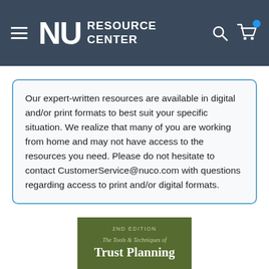NU Resource Center
Our expert-written resources are available in digital and/or print formats to best suit your specific situation. We realize that many of you are working from home and may not have access to the resources you need. Please do not hesitate to contact CustomerService@nuco.com with questions regarding access to print and/or digital formats.
[Figure (illustration): Book cover for 'The Tools & Techniques of Trust Planning, 2nd Edition' with dark olive/green background, white and light text.]